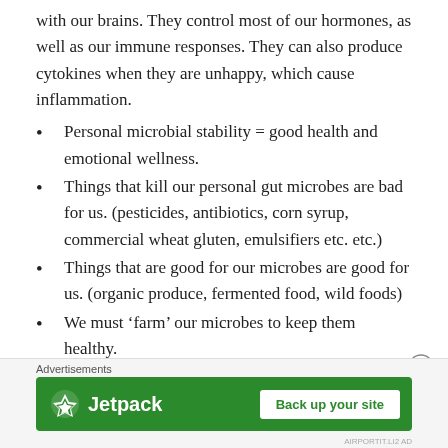with our brains. They control most of our hormones, as well as our immune responses. They can also produce cytokines when they are unhappy, which cause inflammation.
Personal microbial stability = good health and emotional wellness.
Things that kill our personal gut microbes are bad for us. (pesticides, antibiotics, corn syrup, commercial wheat gluten, emulsifiers etc. etc.)
Things that are good for our microbes are good for us. (organic produce, fermented food, wild foods)
We must ‘farm’ our microbes to keep them healthy.
I’m not saying we should be eating poop, although that’s fast becoming a treatment for certain illnesses. Just consider, the next time you stop for a doughnut and a caramel mocha latte, what is happening to your gut bacteria. The next time you have to take a 7...
Advertisements
[Figure (other): Jetpack advertisement banner with logo and 'Back up your site' button on green background]